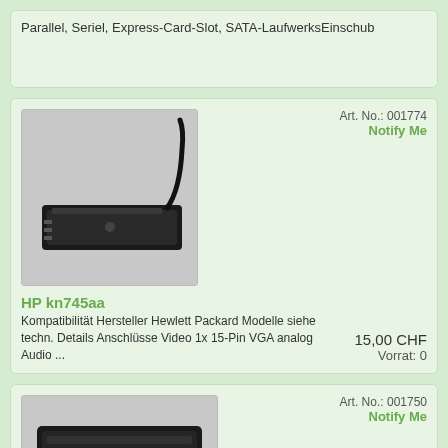Parallel, Seriel, Express-Card-Slot, SATA-LaufwerksEinschub
Art. No.: 001774
Notify Me
[Figure (photo): HP docking station / port replicator device, slim black, with cable]
15,00 CHF
Vorrat: 0
HP kn745aa
Kompatibilität Hersteller Hewlett Packard Modelle siehe techn. Details Anschlüsse Video 1x 15-Pin VGA analog Audio ...
Art. No.: 001750
Notify Me
[Figure (photo): HP docking station, larger black rectangular unit with open bay]
20,00 CHF
HP Docking Station XB044V...